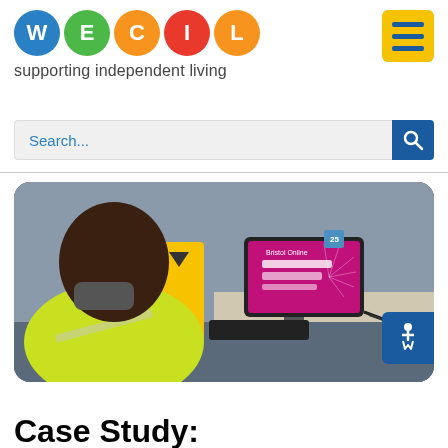[Figure (logo): WECIL logo with five coloured circles (blue W, green E, orange C, red I, orange L) and tagline 'supporting independent living']
[Figure (other): Yellow hamburger menu button with three blue horizontal bars]
Search...
[Figure (photo): A person wearing a yellow high-visibility jacket and face mask, viewed from behind/side, looking at a computer monitor displaying a Bristol Online login screen with magenta/pink background]
Case Study: Bristol Central